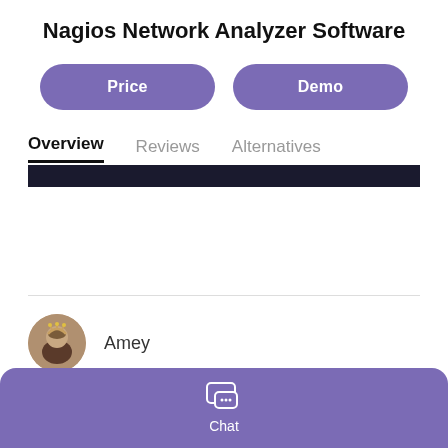Nagios Network Analyzer Software
Price
Demo
Overview
Reviews
Alternatives
[Figure (screenshot): Black redacted/blurred bar across the content area]
Amey
Chat